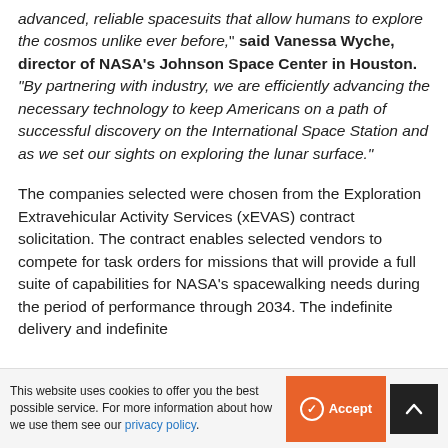advanced, reliable spacesuits that allow humans to explore the cosmos unlike ever before," said Vanessa Wyche, director of NASA's Johnson Space Center in Houston. "By partnering with industry, we are efficiently advancing the necessary technology to keep Americans on a path of successful discovery on the International Space Station and as we set our sights on exploring the lunar surface."
The companies selected were chosen from the Exploration Extravehicular Activity Services (xEVAS) contract solicitation. The contract enables selected vendors to compete for task orders for missions that will provide a full suite of capabilities for NASA's spacewalking needs during the period of performance through 2034. The indefinite delivery and indefinite
This website uses cookies to offer you the best possible service. For more information about how we use them see our privacy policy.